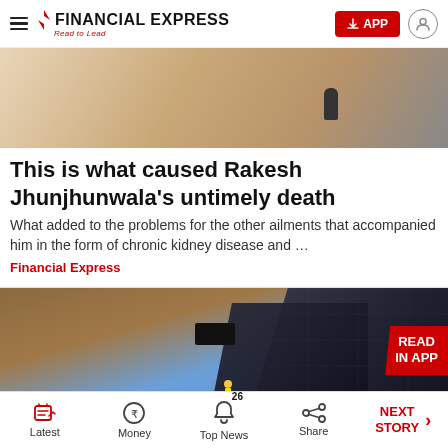FINANCIAL EXPRESS — Read to Lead
[Figure (photo): Close-up photo of a person in light-colored clothing with a microphone visible, warm/beige tones]
This is what caused Rakesh Jhunjhunwala's untimely death
What added to the problems for the other ailments that accompanied him in the form of chronic kidney disease and …
Financial Express
[Figure (photo): Photo of solar panels installed outdoors on sandy/earthy terrain with a worker visible and blue sky in background. A 'READ IN APP' badge overlaid in red in top-right corner.]
Latest | Money | Top News (26 notifications) | Share | NEXT STORY